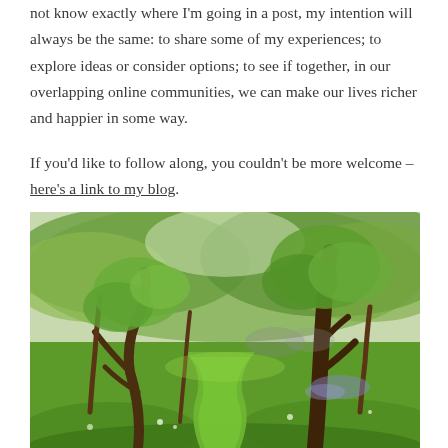not know exactly where I'm going in a post, my intention will always be the same: to share some of my experiences; to explore ideas or consider options; to see if together, in our overlapping online communities, we can make our lives richer and happier in some way.
If you'd like to follow along, you couldn't be more welcome – here's a link to my blog.
[Figure (photo): A lush green orchard or woodland path with a mown grass trail running between wildflower meadow grass and scattered trees with fresh spring foliage. Bluebells visible in the background.]